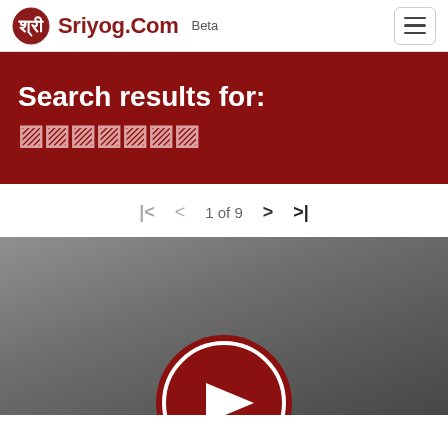Sriyog.Com Beta
Search results for: ▨▨▨▨▨▨▨
1 of 9
[Figure (screenshot): Video thumbnail with gray gradient background and a red circular play button partially visible at the bottom center]